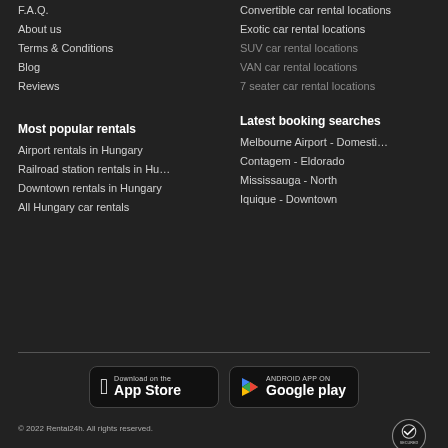F.A.Q.
About us
Terms & Conditions
Blog
Reviews
Convertible car rental locations
Exotic car rental locations
SUV car rental locations
VAN car rental locations
7 seater car rental locations
Most popular rentals
Latest booking searches
Airport rentals in Hungary
Railroad station rentals in Hu…
Downtown rentals in Hungary
All Hungary car rentals
Melbourne Airport - Domesti…
Contagem - Eldorado
Mississauga - North
Iquique - Downtown
[Figure (logo): Download on the App Store badge]
[Figure (logo): Android App on Google Play badge]
© 2022 Rental24h. All rights reserved.
[Figure (logo): Norton Secured powered by Symantec badge]